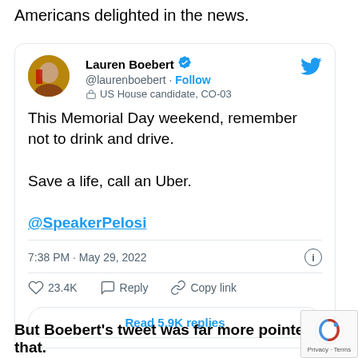Americans delighted in the news.
[Figure (screenshot): A Twitter/X screenshot of a tweet by Lauren Boebert (@laurenboebert), US House candidate CO-03, with blue verified checkmark. Tweet text: 'This Memorial Day weekend, remember not to drink and drive. Save a life, call an Uber. @SpeakerPelosi'. Posted at 7:38 PM · May 29, 2022. 23.4K likes. Reply and Copy link options. Read 5.9K replies button.]
But Boebert's tweet was far more pointed than that.